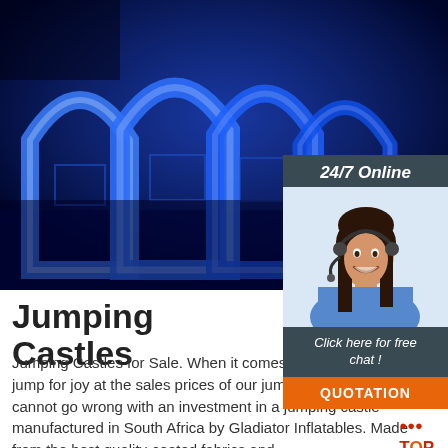[Figure (photo): Illuminated blue inflatable jumping castles/structures in a dark indoor or nighttime setting, with arch shapes glowing in bright blue light]
[Figure (photo): Sidebar showing a smiling young woman with dark hair wearing a headset (customer service representative) against a light blue background, with '24/7 Online' header, 'Click here for free chat!' text, and an orange QUOTATION button]
Jumping Castles
Jumping Castles for Sale. When it comes to quality, you will jump for joy at the sales prices of our jumping castles. You cannot go wrong with an investment in a jumping castle manufactured in South Africa by Gladiator Inflatables. Made from the best quality-coated fabrics and